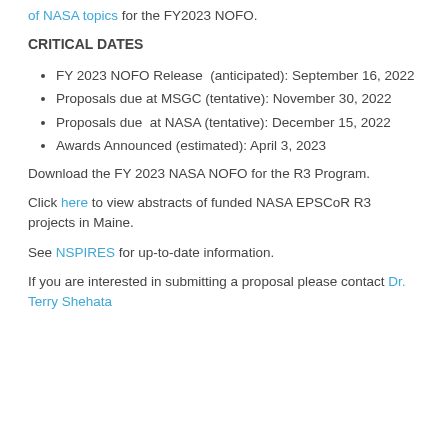of NASA topics for the FY2023 NOFO.
CRITICAL DATES
FY 2023 NOFO Release (anticipated): September 16, 2022
Proposals due at MSGC (tentative): November 30, 2022
Proposals due at NASA (tentative): December 15, 2022
Awards Announced (estimated): April 3, 2023
Download the FY 2023 NASA NOFO for the R3 Program.
Click here to view abstracts of funded NASA EPSCoR R3 projects in Maine.
See NSPIRES for up-to-date information.
If you are interested in submitting a proposal please contact Dr. Terry Shehata